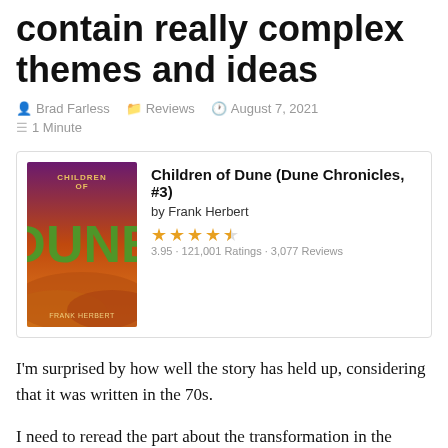contain really complex themes and ideas
Brad Farless   Reviews   August 7, 2021   1 Minute
[Figure (other): Book card for Children of Dune (Dune Chronicles, #3) by Frank Herbert, 3.95 rating, 121,001 Ratings, 3,077 Reviews]
I'm surprised by how well the story has held up, considering that it was written in the 70s.
I need to reread the part about the transformation in the desert, because I'm not sure how or if that really fit into the story's world. It felt more like magic than science or